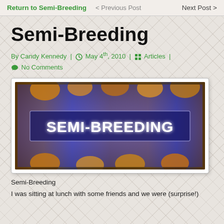Return to Semi-Breeding  < Previous Post  Next Post >
Semi-Breeding
By Candy Kennedy | ◷ May 4th, 2010 | ⬛⬛ Articles | 💬 No Comments
[Figure (photo): Banner image with stylized text SEMI-BREEDING on a blue and gold flame-like background with dark border]
Semi-Breeding
I was sitting at lunch with some friends and we were (surprise!)